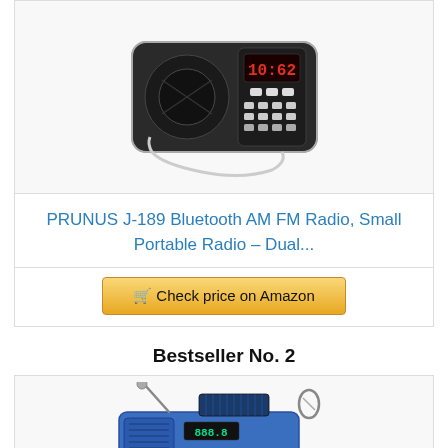[Figure (photo): PRUNUS J-189 portable AM FM radio with keypad and red LED display, white wrist strap, dark metallic body]
PRUNUS J-189 Bluetooth AM FM Radio, Small Portable Radio – Dual…
Check price on Amazon
Bestseller No. 2
[Figure (photo): Blue emergency hand-crank solar radio with antenna extended, digital display showing 888.8, carabiner clip]